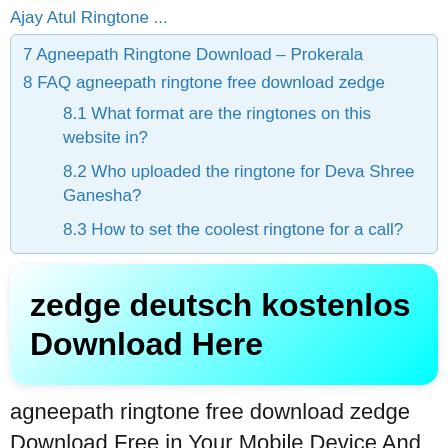Ajay Atul Ringtone ...
7 Agneepath Ringtone Download – Prokerala
8 FAQ agneepath ringtone free download zedge
8.1 What format are the ringtones on this website in?
8.2 Who uploaded the ringtone for Deva Shree Ganesha?
8.3 How to set the coolest ringtone for a call?
zedge deutsch kostenlos Download Here
agneepath ringtone free download zedge Download Free in Your Mobile Device And here get latest ringtone like